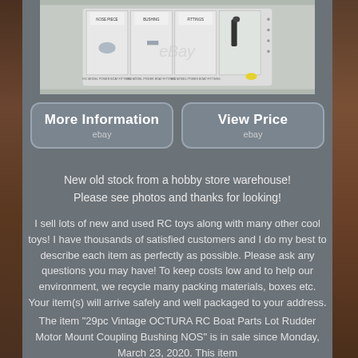[Figure (photo): Product photo of 29pc Vintage OCTURA RC Boat Parts lot showing multiple packaged parts with labels including Nose Piece, Bushing, and other RC power boat fittings arranged on a white background, with eBay watermark]
[Figure (other): Button: More Information / ebay]
[Figure (other): Button: View Price / ebay]
New old stock from a hobby store warehouse! Please see photos and thanks for looking!
I sell lots of new and used RC toys along with many other cool toys! I have thousands of satisfied customers and I do my best to describe each item as perfectly as possible. Please ask any questions you may have! To keep costs low and to help our environment, we recycle many packing materials, boxes etc. Your item(s) will arrive safely and well packaged to your address.
The item "29pc Vintage OCTURA RC Boat Parts Lot Rudder Motor Mount Coupling Bushing NOS" is in sale since Monday, March 23, 2020. This item is in the category "Toys & Hobbies\Radio Control & Control Line..."